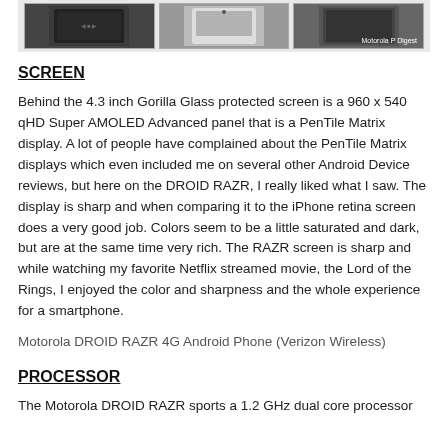[Figure (photo): Three side-by-side photos of the Motorola DROID RAZR phone showing different angles, with a watermark reading 'Motorola P Digest']
SCREEN
Behind the 4.3 inch Gorilla Glass protected screen is a 960 x 540 qHD Super AMOLED Advanced panel that is a PenTile Matrix display. A lot of people have complained about the PenTile Matrix displays which even included me on several other Android Device reviews, but here on the DROID RAZR, I really liked what I saw. The display is sharp and when comparing it to the iPhone retina screen does a very good job. Colors seem to be a little saturated and dark, but are at the same time very rich. The RAZR screen is sharp and while watching my favorite Netflix streamed movie, the Lord of the Rings, I enjoyed the color and sharpness and the whole experience for a smartphone.
Motorola DROID RAZR 4G Android Phone (Verizon Wireless)
PROCESSOR
The Motorola DROID RAZR sports a 1.2 GHz dual core processor